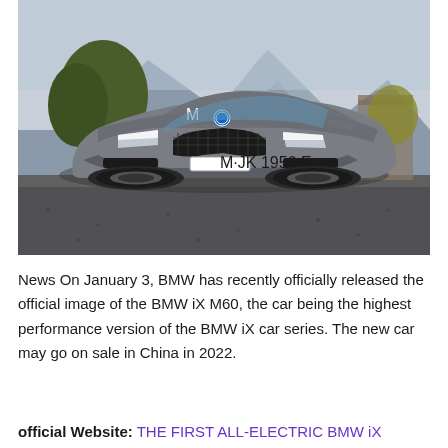[Figure (photo): BMW iX M60 electric SUV photographed from the front-three-quarter angle on a gravel surface with trees and mountains in the background. License plate reads M-JK 1956 E.]
News On January 3, BMW has recently officially released the official image of the BMW iX M60, the car being the highest performance version of the BMW iX car series. The new car may go on sale in China in 2022.
official Website: THE FIRST ALL-ELECTRIC BMW iX